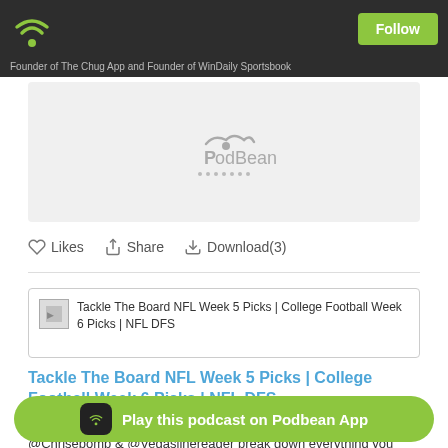Follow
Founder of The Chug App and Founder of WinDaily Sportsbook
[Figure (screenshot): PodBean audio player widget with logo]
Likes  Share  Download(3)
[Figure (screenshot): Thumbnail image for episode: Tackle The Board NFL Week 5 Picks | College Football Week 6 Picks | NFL DFS]
Tackle The Board NFL Week 5 Picks | College Football Week 6 Picks | NFL DFS
October 6, 2021
@Chrisebomb & @Vegaslinereader break down everything you need to know betting and DFS for your football needs Download the App for free in the App store THEN get 10% off VIP Access with this li... me join the Discor...
Play this podcast on Podbean App